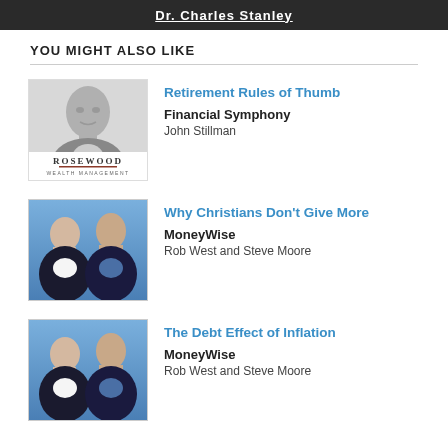Dr. Charles Stanley
YOU MIGHT ALSO LIKE
[Figure (photo): Black and white headshot of John Stillman above Rosewood Wealth Management logo]
Retirement Rules of Thumb
Financial Symphony
John Stillman
[Figure (photo): Photo of Rob West and Steve Moore in front of blue background - MoneyWise podcast]
Why Christians Don't Give More
MoneyWise
Rob West and Steve Moore
[Figure (photo): Photo of Rob West and Steve Moore in front of blue background - MoneyWise podcast]
The Debt Effect of Inflation
MoneyWise
Rob West and Steve Moore